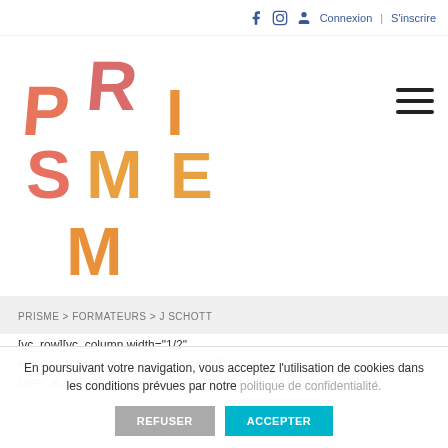Connexion | S'inscrire
[Figure (logo): PRISME logo in colorful overlapping letters — pink, orange, yellow tones]
PRISME > FORMATEURS > J SCHOTT
[vc_row][vc_column width="1/2" el_class="stm_icon_box_responsive"][stm_teacher_detail css=".vc_custom_1435130228906{margin-top: 20px !important;}"]
En poursuivant votre navigation, vous acceptez l'utilisation de cookies dans les conditions prévues par notre politique de confidentialité.
REFUSER
ACCEPTER